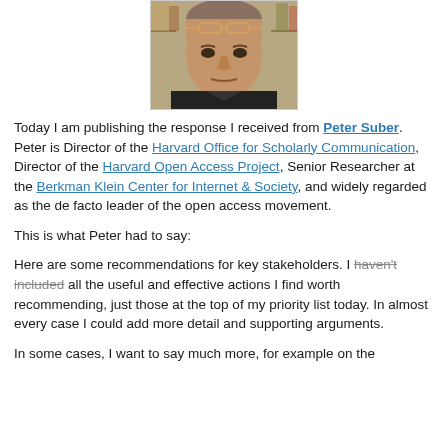[Figure (photo): Close-up photograph of a middle-aged man with glasses on his forehead, dark clothing, short gray hair, looking downward slightly]
Today I am publishing the response I received from Peter Suber. Peter is Director of the Harvard Office for Scholarly Communication, Director of the Harvard Open Access Project, Senior Researcher at the Berkman Klein Center for Internet & Society, and widely regarded as the de facto leader of the open access movement.
This is what Peter had to say:
Here are some recommendations for key stakeholders. I haven't included all the useful and effective actions I find worth recommending, just those at the top of my priority list today. In almost every case I could add more detail and supporting arguments.
In some cases, I want to say much more, for example on the